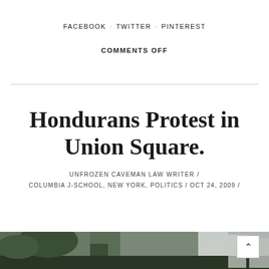FACEBOOK · TWITTER · PINTEREST
COMMENTS OFF
Hondurans Protest in Union Square.
UNFROZEN CAVEMAN LAW WRITER /
COLUMBIA J-SCHOOL, NEW YORK, POLITICS / OCT 24, 2009 /
[Figure (photo): Outdoor protest scene at Union Square with people and flags visible]